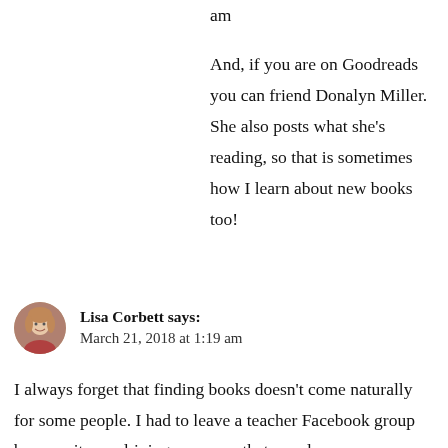am

And, if you are on Goodreads you can friend Donalyn Miller. She also posts what she's reading, so that is sometimes how I learn about new books too!
Lisa Corbett says:
March 21, 2018 at 1:19 am
I always forget that finding books doesn't come naturally for some people. I had to leave a teacher Facebook group because it was driving me crazy that people were